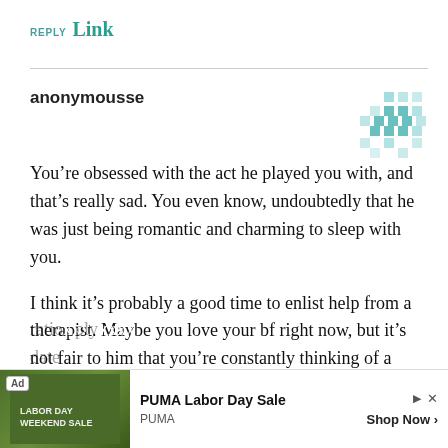REPLY Link
anonymousse
You’re obsessed with the act he played you with, and that’s really sad. You even know, undoubtedly that he was just being romantic and charming to sleep with you.

I think it’s probably a good time to enlist help from a therapist. Maybe you love your bf right now, but it’s not fair to him that you’re constantly thinking of a player that was nice to you for a week, a few years ago. You need to get over this and look at the past ration... date...
[Figure (other): Teal geometric avatar icon with diamond/cross pattern]
Ad PUMA Labor Day Sale PUMA Shop Now >